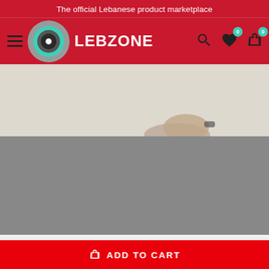The official Lebanese product marketplace
[Figure (logo): LEBZONE logo with hamburger menu, circular logo icon, brand name, and navigation icons (search, wishlist with badge 0, cart with badge 0)]
[Figure (photo): Product photo partially visible - person's arm/head visible in upper portion against light beige/cream background; lower portion is a gray placeholder/loading area]
ADD TO CART